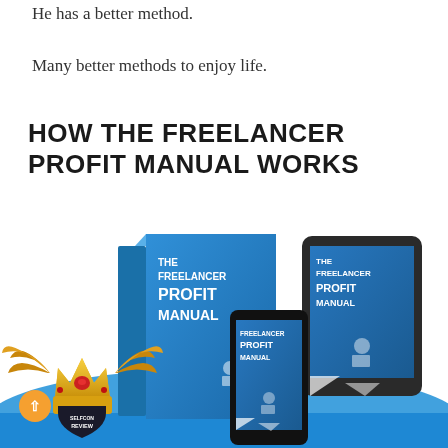He has a better method.
Many better methods to enjoy life.
HOW THE FREELANCER PROFIT MANUAL WORKS
[Figure (illustration): Product mockup showing The Freelancer Profit Manual as a physical book box, tablet, and smartphone. A golden crown with wings logo (SelfCon Review) overlays the bottom-left. Blue wave background. An orange scroll-up button is visible bottom-left.]